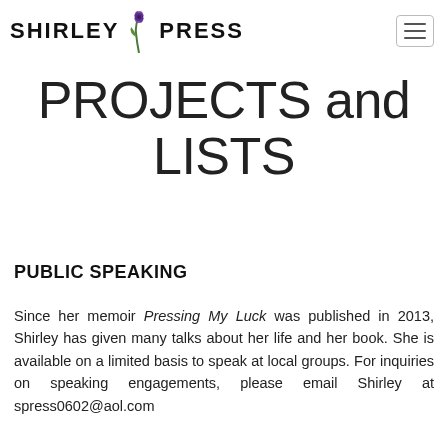SHIRLEY PRESS
PROJECTS and LISTS
PUBLIC SPEAKING
Since her memoir Pressing My Luck was published in 2013, Shirley has given many talks about her life and her book. She is available on a limited basis to speak at local groups. For inquiries on speaking engagements, please email Shirley at spress0602@aol.com